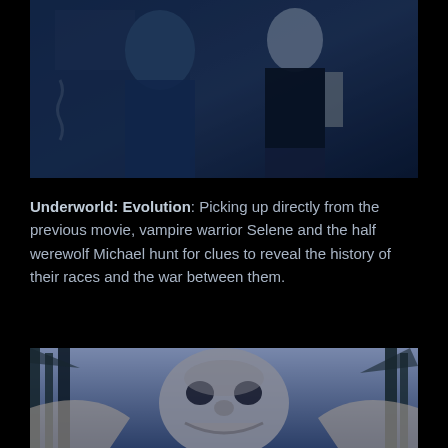[Figure (photo): Blue-tinted film still from Underworld showing two figures, one in black clothing and one in a black t-shirt, near a wall with a chain visible]
Underworld: Evolution: Picking up directly from the previous movie, vampire warrior Selene and the half werewolf Michael hunt for clues to reveal the history of their races and the war between them.
[Figure (photo): Blue-tinted film still from Underworld: Evolution showing a monstrous creature face in a forest setting with trees in the background]